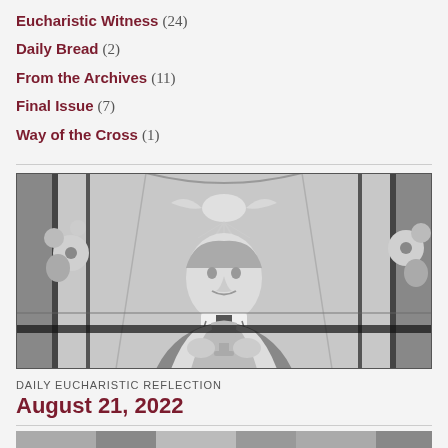Eucharistic Witness (24)
Daily Bread (2)
From the Archives (11)
Final Issue (7)
Way of the Cross (1)
[Figure (photo): Black and white stained glass window depicting a priest or religious figure in clerical vestments holding a chalice, with a dove above and floral motifs on the sides.]
DAILY EUCHARISTIC REFLECTION
August 21, 2022
[Figure (photo): Partial view of another black and white image at the bottom of the page.]